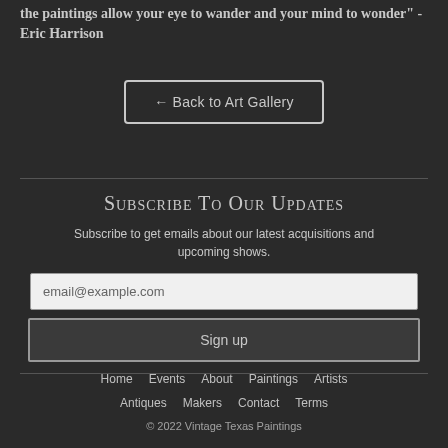the paintings allow your eye to wander and your mind to wonder"  -Eric Harrison
← Back to Art Gallery
Subscribe To Our Updates
Subscribe to get emails about our latest acquisitions and upcoming shows.
email@example.com
Sign up
Home   Events   About   Paintings   Artists   Antiques   Makers   Contact   Terms   © 2022 Vintage Texas Paintings